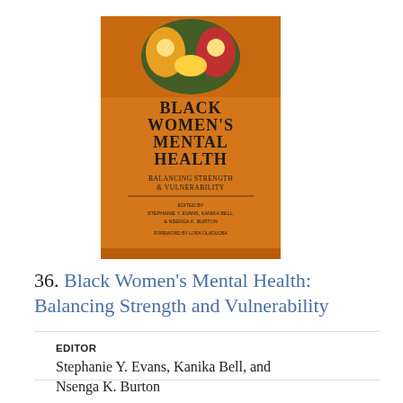[Figure (photo): Book cover of 'Black Women's Mental Health: Balancing Strength and Vulnerability' with an orange background and decorative mask imagery at the top. Edited by Stephanie Y. Evans, Kanika Bell, & Nsenga K. Burton. Foreword by Lora Oladugba.]
36. Black Women's Mental Health: Balancing Strength and Vulnerability
EDITOR
Stephanie Y. Evans, Kanika Bell, and Nsenga K. Burton
PUBLICATION DATE
2017